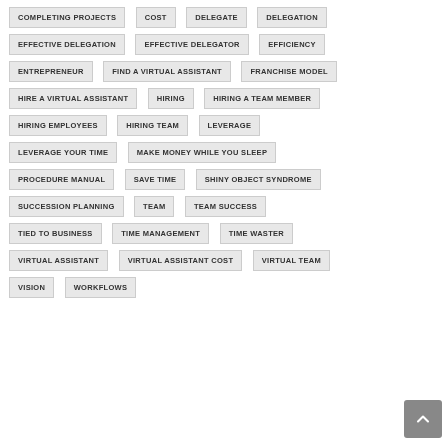COMPLETING PROJECTS
COST
DELEGATE
DELEGATION
EFFECTIVE DELEGATION
EFFECTIVE DELEGATOR
EFFICIENCY
ENTREPRENEUR
FIND A VIRTUAL ASSISTANT
FRANCHISE MODEL
HIRE A VIRTUAL ASSISTANT
HIRING
HIRING A TEAM MEMBER
HIRING EMPLOYEES
HIRING TEAM
LEVERAGE
LEVERAGE YOUR TIME
MAKE MONEY WHILE YOU SLEEP
PROCEDURE MANUAL
SAVE TIME
SHINY OBJECT SYNDROME
SUCCESSION PLANNING
TEAM
TEAM SUCCESS
TIED TO BUSINESS
TIME MANAGEMENT
TIME WASTER
VIRTUAL ASSISTANT
VIRTUAL ASSISTANT COST
VIRTUAL TEAM
VISION
WORKFLOWS